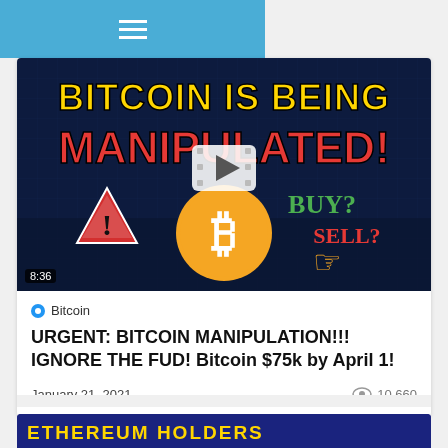☰
[Figure (screenshot): YouTube video thumbnail showing text 'BITCOIN IS BEING MANIPULATED!' in yellow and red on dark background, with warning triangle, Bitcoin coin logo, BUY? and SELL? text, and a pointing hand icon. Duration badge shows 8:36. A play button overlay is shown in the center.]
Bitcoin
URGENT: BITCOIN MANIPULATION!!! IGNORE THE FUD! Bitcoin $75k by April 1!
January 21, 2021
10,660
[Figure (screenshot): Partial view of another video thumbnail with yellow text on dark blue background, text partially reads 'ETHEREUM HOLDERS']